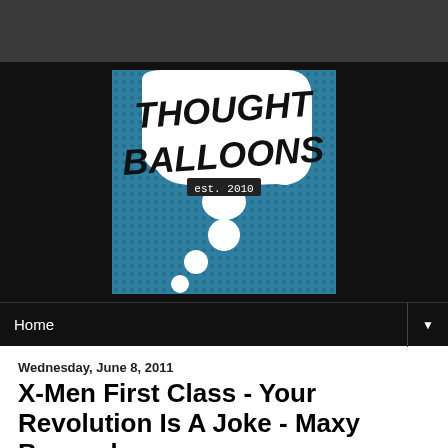[Figure (logo): Thought Balloons logo — white speech bubble with bold handwritten text 'THOUGHT BALLOONS' and 'est. 2010' on a teal halftone background, set against a black banner]
Home
Wednesday, June 8, 2011
X-Men First Class - Your Revolution Is A Joke - Maxy Barnard